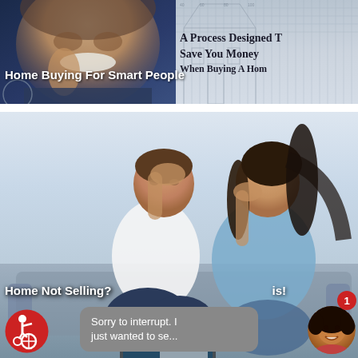[Figure (photo): Top banner split image: left side shows elderly man with white mustache against dark blue background; right side shows blueprint/grid background with text 'A Process Designed T', 'Save You Money', 'When Buying A Hom']
Home Buying For Smart People
[Figure (photo): Large image of a stressed couple sitting together looking at documents/laptop, man in white shirt with hand on head, woman in blue shirt leaning on hand, against a light blue-gray background]
Home Not Selling?
is!
Sorry to interrupt. I just wanted to se...